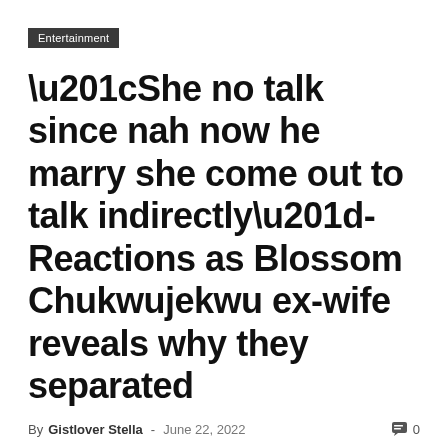Entertainment
“She no talk since nah now he marry she come out to talk indirectly”-Reactions as Blossom Chukwujekwu ex-wife reveals why they separated
By Gistlover Stella - June 22, 2022  0